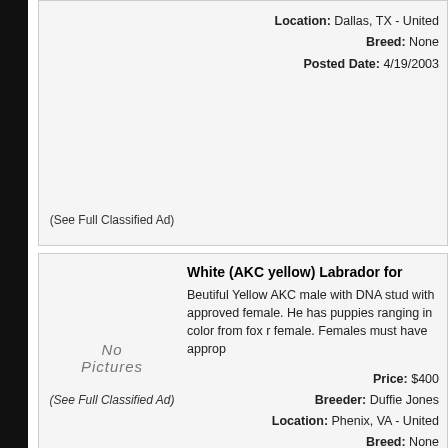(See Full Classified Ad)
Location: Dallas, TX - United
Breed: None
Posted Date: 4/19/2003
White (AKC yellow) Labrador for
Beutiful Yellow AKC male with DNA stud with approved female. He has puppies ranging in color from fox r female. Females must have approp
Price: $400
Breeder: Duffie Jones
Location: Phenix, VA - United
Breed: None
Posted Date: 4/19/2003
(See Full Classified Ad)
White (AKC yellow) Labrador for
Beutiful Yellow AKc male with DNA stude with approved female. he ha puppies ranging in color from fox r female. Females must have appro
Price: $400